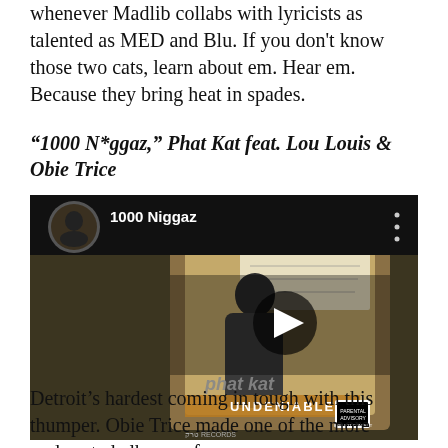whenever Madlib collabs with lyricists as talented as MED and Blu. If you don't know those two cats, learn about em. Hear em. Because they bring heat in spades.
“1000 N*ggaz,” Phat Kat feat. Lou Louis & Obie Trice
[Figure (screenshot): YouTube video embed showing '1000 Niggaz' by Phat Kat, with album cover art from 'Undeniable' visible, featuring a man in a long coat, a handwritten note, and a play button overlay. A circular thumbnail of the artist is visible in the top left.]
Detroit’s hardest coming in tough with this thumper. Obie Trice made one of the more underrated albums of